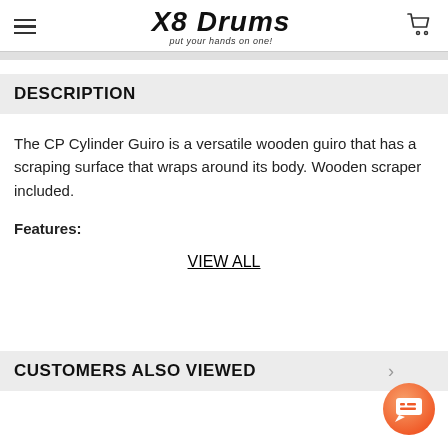X8 DRUMS — put your hands on one!
DESCRIPTION
The CP Cylinder Guiro is a versatile wooden guiro that has a scraping surface that wraps around its body. Wooden scraper included.
Features:
VIEW ALL
CUSTOMERS ALSO VIEWED